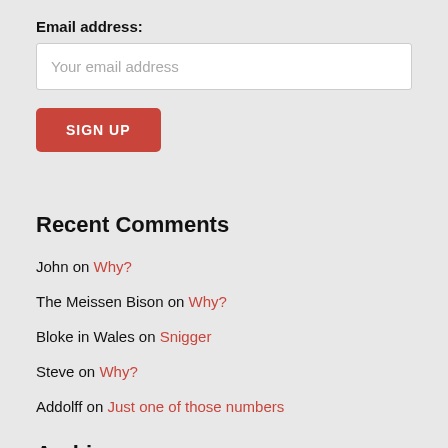Email address:
Your email address
SIGN UP
Recent Comments
John on Why?
The Meissen Bison on Why?
Bloke in Wales on Snigger
Steve on Why?
Addolff on Just one of those numbers
Archives